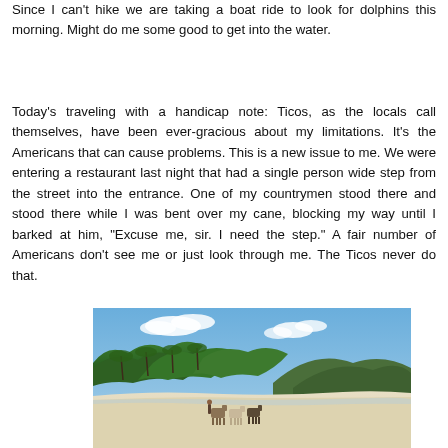Since I can't hike we are taking a boat ride to look for dolphins this morning. Might do me some good to get into the water.
Today's traveling with a handicap note: Ticos, as the locals call themselves, have been ever-gracious about my limitations. It's the Americans that can cause problems. This is a new issue to me. We were entering a restaurant last night that had a single person wide step from the street into the entrance. One of my countrymen stood there and stood there while I was bent over my cane, blocking my way until I barked at him, "Excuse me, sir. I need the step." A fair number of Americans don't see me or just look through me. The Ticos never do that.
[Figure (photo): A beach scene with horses on white sand, palm trees and dense tropical vegetation in the background, and green hills under a blue sky with clouds.]